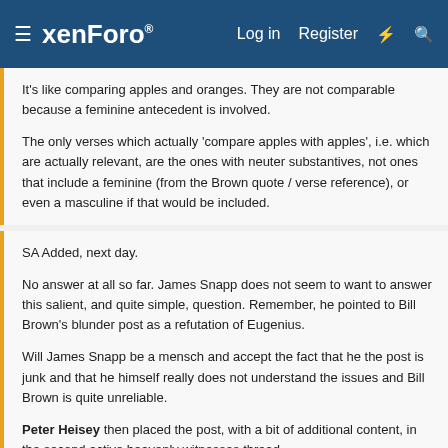xenForo  Log in  Register
It's like comparing apples and oranges. They are not comparable because a feminine antecedent is involved.
The only verses which actually 'compare apples with apples', i.e. which are actually relevant, are the ones with neuter substantives, not ones that include a feminine (from the Brown quote / verse reference), or even a masculine if that would be included.
SA Added, next day.
No answer at all so far. James Snapp does not seem to want to answer this salient, and quite simple, question. Remember, he pointed to Bill Brown's blunder post as a refutation of Eugenius.
Will James Snapp be a mensch and accept the fact that he the post is junk and that he himself really does not understand the issues and Bill Brown is quite unreliable.
Peter Heisey then placed the post, with a bit of additional content, in the second active heavenly witnesses thread. https://www.facebook.com/groups/NTTextualCriticism/permalink/211497908